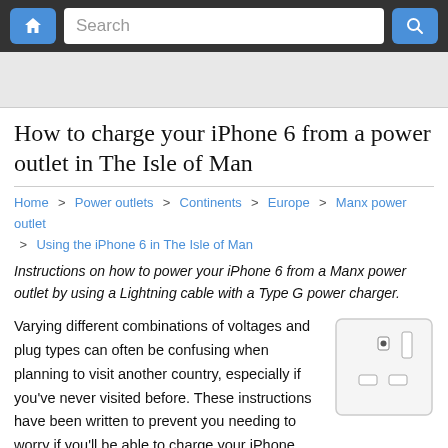Home | Search | Power outlets | Continents | Europe | Manx power outlet | Using the iPhone 6 in The Isle of Man
How to charge your iPhone 6 from a power outlet in The Isle of Man
Home > Power outlets > Continents > Europe > Manx power outlet > Using the iPhone 6 in The Isle of Man
Instructions on how to power your iPhone 6 from a Manx power outlet by using a Lightning cable with a Type G power charger.
Varying different combinations of voltages and plug types can often be confusing when planning to visit another country, especially if you've never visited before. These instructions have been written to prevent you needing to worry if you'll be able to charge your iPhone from a power outlet in The Isle of Man.
[Figure (photo): Photo of a Type G power outlet (UK-style wall socket with three rectangular pins), white color with a single switch.]